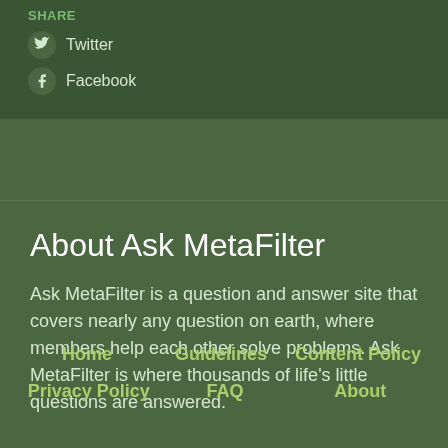Share
Twitter
Facebook
About Ask MetaFilter
Ask MetaFilter is a question and answer site that covers nearly any question on earth, where members help each other solve problems. Ask MetaFilter is where thousands of life's little questions are answered.
Home
Guidelines
Content Policy
Privacy Policy
FAQ
About